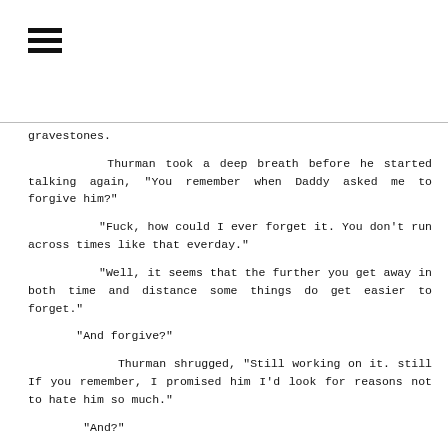[Figure (other): Hamburger menu icon — three horizontal black bars stacked vertically]
gravestones.
Thurman took a deep breath before he started talking again, "You remember when Daddy asked me to forgive him?"
"Fuck, how could I ever forget it. You don't run across times like that everday."
"Well, it seems that the further you get away in both time and distance some things do get easier to forget."
"And forgive?"
Thurman shrugged, "Still working on it. still If you remember, I promised him I'd look for reasons not to hate him so much."
"And?"